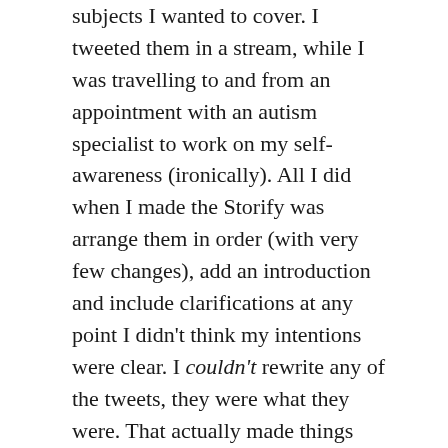subjects I wanted to cover. I tweeted them in a stream, while I was travelling to and from an appointment with an autism specialist to work on my self-awareness (ironically). All I did when I made the Storify was arrange them in order (with very few changes), add an introduction and include clarifications at any point I didn't think my intentions were clear. I couldn't rewrite any of the tweets, they were what they were. That actually made things much easier.
I also know that I do a hugely better job with writing if I'm provided with a pitch to respond to, a first draft to improve on or a blog post to reply to, rather than a blank page or a title to start from. This is aided by the fact that I